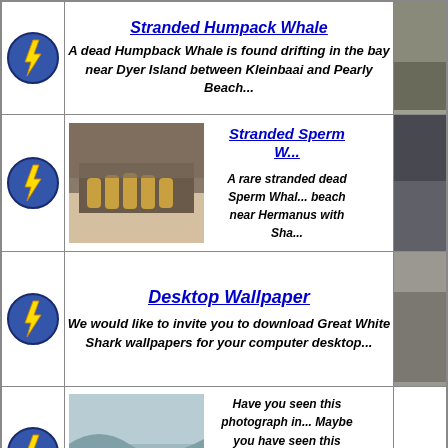Stranded Humpack Whale
A dead Humpback Whale is found drifting in the bay near Dyer Island between Kleinbaai and Pearly Beach...
Stranded Sperm W...
[Figure (photo): Close-up photo of stranded sperm whale mouth/teeth area]
A rare stranded dead Sperm Whale... beach near Hermanus with Sha...
Desktop Wallpaper
We would like to invite you to download Great White Shark wallpapers for your computer desktop...
[Figure (photo): Surfer in ocean wave photo]
Have you seen this photograph in... Maybe you have seen this image...
Would you like to know...